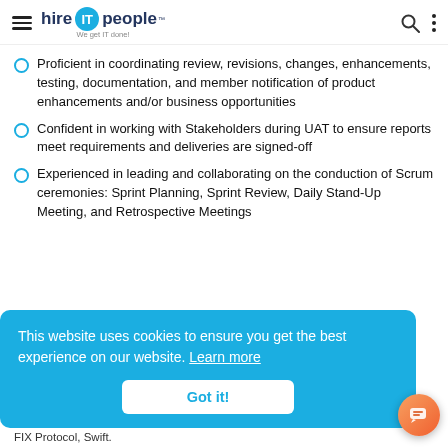hire IT people — We get IT done!
Proficient in coordinating review, revisions, changes, enhancements, testing, documentation, and member notification of product enhancements and/or business opportunities
Confident in working with Stakeholders during UAT to ensure reports meet requirements and deliveries are signed-off
Experienced in leading and collaborating on the conduction of Scrum ceremonies: Sprint Planning, Sprint Review, Daily Stand-Up Meeting, and Retrospective Meetings
This website uses cookies to ensure you get the best experience on our website. Learn more
Got it!
FIX Protocol, Swift.